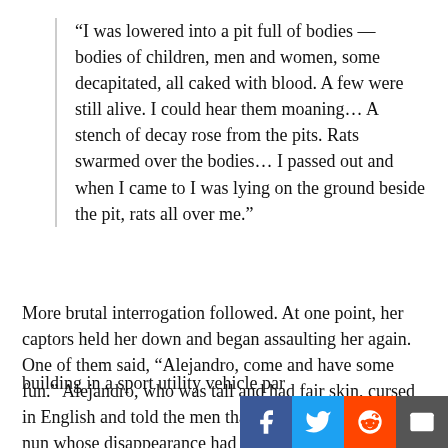“I was lowered into a pit full of bodies — bodies of children, men and women, some decapitated, all caked with blood. A few were still alive. I could hear them moaning… A stench of decay rose from the pits. Rats swarmed over the bodies… I passed out and when I came to I was lying on the ground beside the pit, rats all over me.”
More brutal interrogation followed. At one point, her captors held her down and began assaulting her again. One of them said, “Alejandro, come and have some fun.” Alejandro, who was tall and had fair skin, cursed in English and told the men that Ortiz was an American nun whose disappearance had already made news headlines. She says he then ordered them out of the room before helping her get dressed and leaving the building in a sport utility vehicle parked outside.